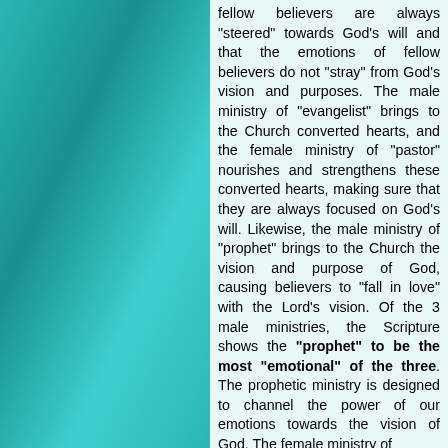fellow believers are always "steered" towards God's will and that the emotions of fellow believers do not "stray" from God's vision and purposes. The male ministry of "evangelist" brings to the Church converted hearts, and the female ministry of "pastor" nourishes and strengthens these converted hearts, making sure that they are always focused on God's will. Likewise, the male ministry of "prophet" brings to the Church the vision and purpose of God, causing believers to "fall in love" with the Lord's vision. Of the 3 male ministries, the Scripture shows the "prophet" to be the most "emotional" of the three. The prophetic ministry is designed to channel the power of our emotions towards the vision of God. The female ministry of